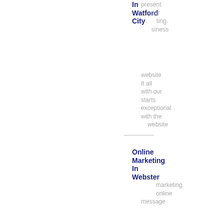In Watford City
present your business website It all starts with our exceptional with the website marketing online message where your online purchase for rate Other ur website marketing
Online Marketing In Webster
Online Marketing In West Fargo
professionals Help is on at Power the way with Online Power Online